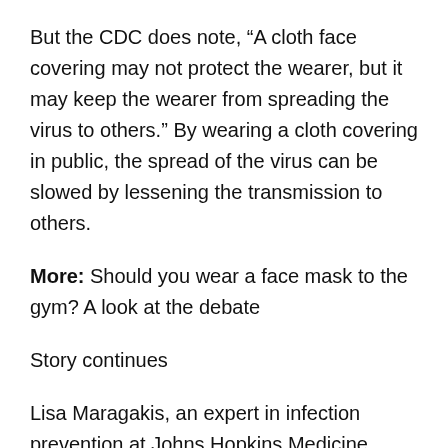But the CDC does note, “A cloth face covering may not protect the wearer, but it may keep the wearer from spreading the virus to others.” By wearing a cloth covering in public, the spread of the virus can be slowed by lessening the transmission to others.
More: Should you wear a face mask to the gym? A look at the debate
Story continues
Lisa Maragakis, an expert in infection prevention at Johns Hopkins Medicine, says in an FAQ on coronavirus and masks that while cloth masks are not medical-grade, they may be helpful